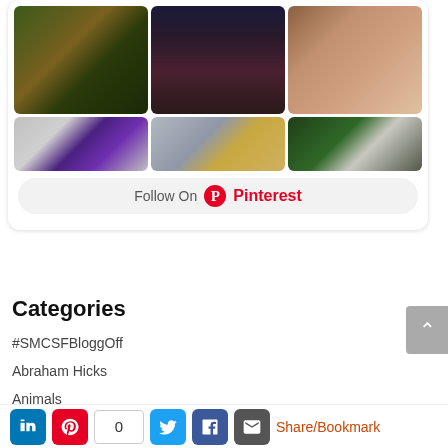[Figure (screenshot): Pinterest widget showing a grid of 6 images (fantasy tree, dragon, mini dragon on finger, purple gems, golden chess pieces, white spiky creature) with a 'Follow On Pinterest' button]
Categories
#SMCSFBloggOff
Abraham Hicks
Animals
ART
[Figure (infographic): Share/Bookmark bar with LinkedIn, Pinterest, share count 0, Twitter, Facebook, Email icons and Share/Bookmark label]